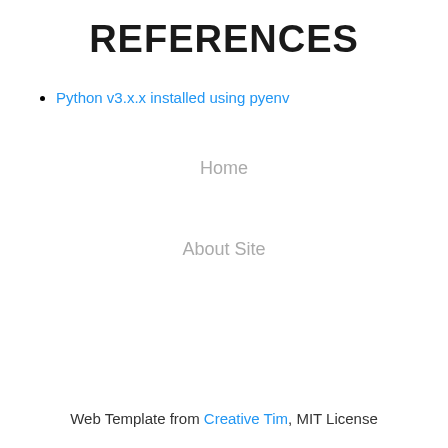REFERENCES
Python v3.x.x installed using pyenv
Home
About Site
Web Template from Creative Tim, MIT License